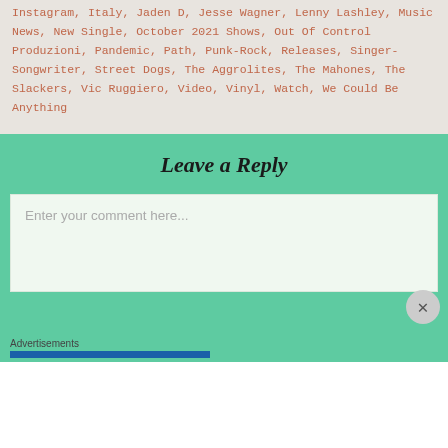Instagram, Italy, Jaden D, Jesse Wagner, Lenny Lashley, Music News, New Single, October 2021 Shows, Out Of Control Produzioni, Pandemic, Path, Punk-Rock, Releases, Singer-Songwriter, Street Dogs, The Aggrolites, The Mahones, The Slackers, Vic Ruggiero, Video, Vinyl, Watch, We Could Be Anything
Leave a Reply
Enter your comment here...
Advertisements